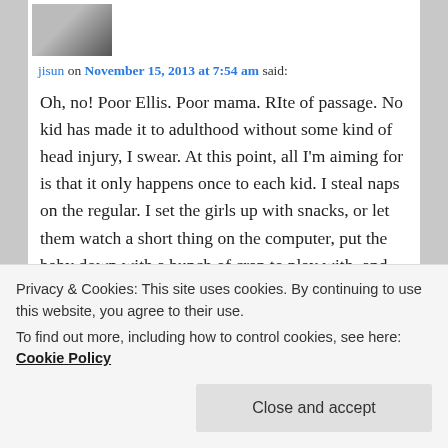[Figure (photo): Small avatar photo of a person with dark hair against a light background]
jisun on November 15, 2013 at 7:54 am said:
Oh, no! Poor Ellis. Poor mama. RIte of passage. No kid has made it to adulthood without some kind of head injury, I swear. At this point, all I'm aiming for is that it only happens once to each kid. I steal naps on the regular. I set the girls up with snacks, or let them watch a short thing on the computer, put the baby down with a bunch of crap to play with, and conk out. It never lasts, eventually someone gets mad, someone steals something, someone needs something. But in the meantime, I get fifteen minutes of sleep. I dunno why I'm telling you this, other than just to say, I feel you on the
Privacy & Cookies: This site uses cookies. By continuing to use this website, you agree to their use.
To find out more, including how to control cookies, see here: Cookie Policy
Close and accept